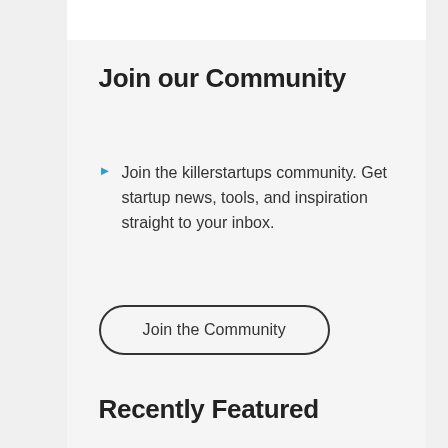Join our Community
Join the killerstartups community. Get startup news, tools, and inspiration straight to your inbox.
Join the Community
Recently Featured